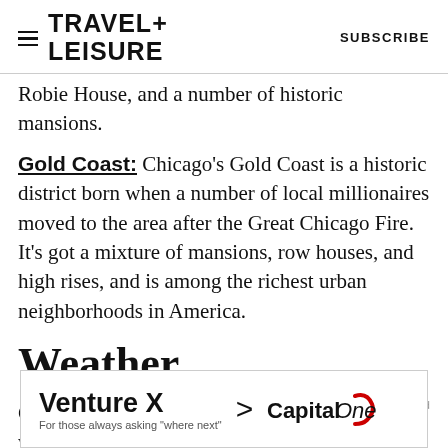TRAVEL+ LEISURE  SUBSCRIBE
Robie House, and a number of historic mansions.
Gold Coast: Chicago's Gold Coast is a historic district born when a number of local millionaires moved to the area after the Great Chicago Fire. It's got a mixture of mansions, row houses, and high rises, and is among the richest urban neighborhoods in America.
Weather
Chicago summers can be beautiful but humid while
[Figure (other): Capital One Venture X advertisement banner: 'Venture X  >  Capital One  For those always asking where next']